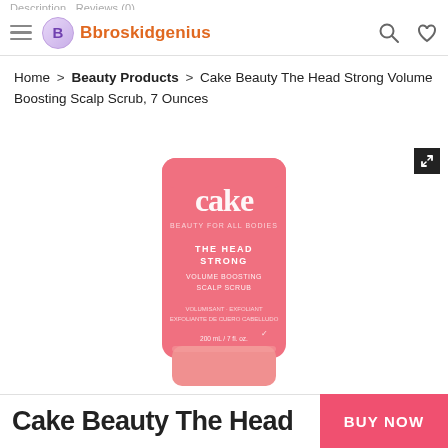Description  Reviews (0)
Bbroskidgenius
Home > Beauty Products > Cake Beauty The Head Strong Volume Boosting Scalp Scrub, 7 Ounces
[Figure (photo): Pink tube of Cake Beauty The Head Strong Volume Boosting Scalp Scrub product]
Cake Beauty The Head